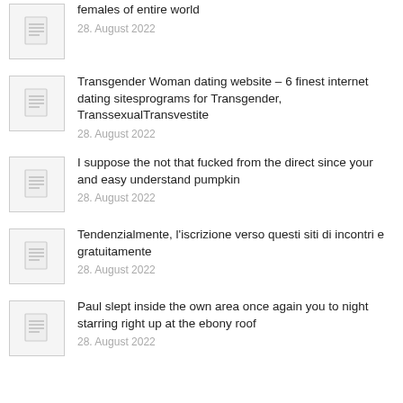females of entire world
28. August 2022
Transgender Woman dating website – 6 finest internet dating sitesprograms for Transgender, TranssexualTransvestite
28. August 2022
I suppose the not that fucked from the direct since your and easy understand pumpkin
28. August 2022
Tendenzialmente, l'iscrizione verso questi siti di incontri e gratuitamente
28. August 2022
Paul slept inside the own area once again you to night starring right up at the ebony roof
28. August 2022